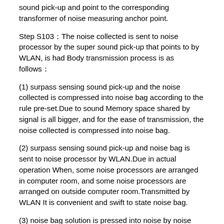sound pick-up and point to the corresponding transformer of noise measuring anchor point.
Step S103：The noise collected is sent to noise processor by the super sound pick-up that points to by WLAN, is had Body transmission process is as follows：
(1) surpass sensing sound pick-up and the noise collected is compressed into noise bag according to the rule pre-set.Due to sound Memory space shared by signal is all bigger, and for the ease of transmission, the noise collected is compressed into noise bag.
(2) surpass sensing sound pick-up and noise bag is sent to noise processor by WLAN.Due in actual operation When, some noise processors are arranged in computer room, and some noise processors are arranged on outside computer room.Transmitted by WLAN It is convenient and swift to state noise bag.
(3) noise bag solution is pressed into noise by noise processor after noise bag is received according to rule.Work as noise processor After receiving noise bag with prestissimo, first to decompress, i.e., by compressing